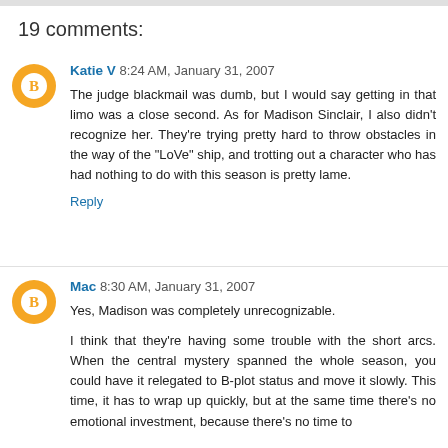19 comments:
Katie V 8:24 AM, January 31, 2007
The judge blackmail was dumb, but I would say getting in that limo was a close second. As for Madison Sinclair, I also didn't recognize her. They're trying pretty hard to throw obstacles in the way of the "LoVe" ship, and trotting out a character who has had nothing to do with this season is pretty lame.
Reply
Mac 8:30 AM, January 31, 2007
Yes, Madison was completely unrecognizable.

I think that they're having some trouble with the short arcs. When the central mystery spanned the whole season, you could have it relegated to B-plot status and move it slowly. This time, it has to wrap up quickly, but at the same time there's no emotional investment, because there's no time to